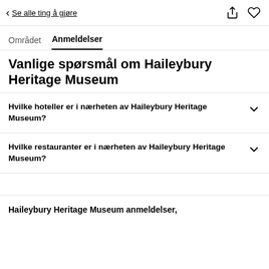< Se alle ting å gjøre
Området  Anmeldelser
Vanlige spørsmål om Haileybury Heritage Museum
Hvilke hoteller er i nærheten av Haileybury Heritage Museum?
Hvilke restauranter er i nærheten av Haileybury Heritage Museum?
Haileybury Heritage Museum anmeldelser,